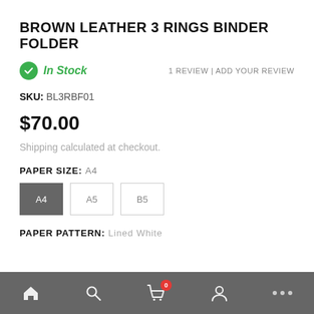BROWN LEATHER 3 RINGS BINDER FOLDER
In Stock  |  1 REVIEW | ADD YOUR REVIEW
SKU: BL3RBF01
$70.00
Shipping calculated at checkout.
PAPER SIZE: A4
PAPER PATTERN: Lined White